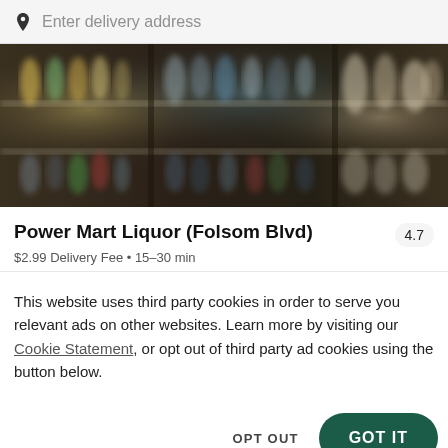Enter delivery address
[Figure (photo): Blurred liquor store interior showing shelves stocked with bottles and beverages]
Power Mart Liquor (Folsom Blvd)
4.7
$2.99 Delivery Fee • 15–30 min
This website uses third party cookies in order to serve you relevant ads on other websites. Learn more by visiting our Cookie Statement, or opt out of third party ad cookies using the button below.
OPT OUT
GOT IT